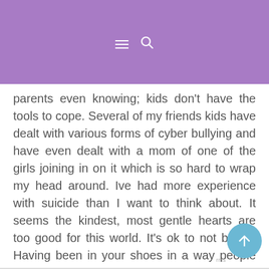Navigation bar with hamburger menu and search icon on purple background
parents even knowing; kids don't have the tools to cope. Several of my friends kids have dealt with various forms of cyber bullying and have even dealt with a mom of one of the girls joining in on it which is so hard to wrap my head around. Ive had more experience with suicide than I want to think about. It seems the kindest, most gentle hearts are too good for this world. It's ok to not be ok. Having been in your shoes in a way people never know what to say and yes I said it's ok to not know what to say. The how are you question is tough. Sounds like you've got a support group of friends